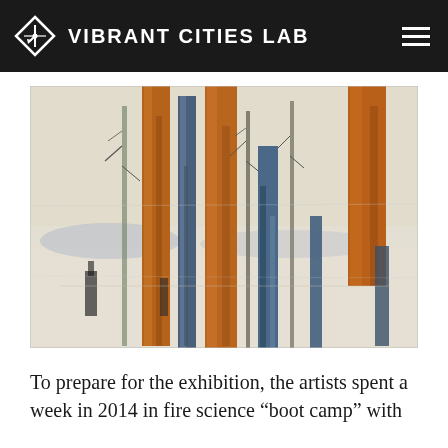VIBRANT CITIES LAB
[Figure (illustration): Artwork depicting a forest of tall vertical tree trunks in orange, brown, and blue tones against a pale background, with bare branching limbs and abstract collage-like textures.]
To prepare for the exhibition, the artists spent a week in 2014 in fire science “boot camp” with